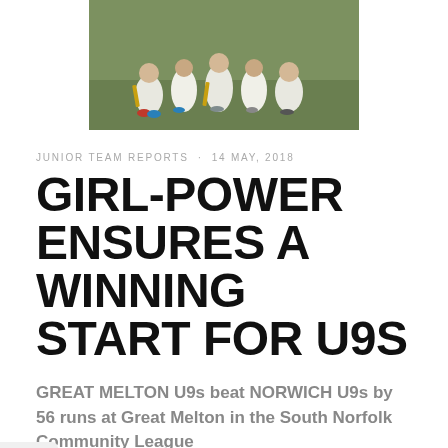[Figure (photo): Cricket team photo showing young players in white cricket gear crouching/kneeling on grass]
JUNIOR TEAM REPORTS · 14 MAY, 2018
GIRL-POWER ENSURES A WINNING START FOR U9S
GREAT MELTON U9s beat NORWICH U9s by 56 runs at Great Melton in the South Norfolk Community League
Melton's Poppy Bugg and Alice Brand captured 8 Norwich wickets for just 8 runs as the Under 9s started the season